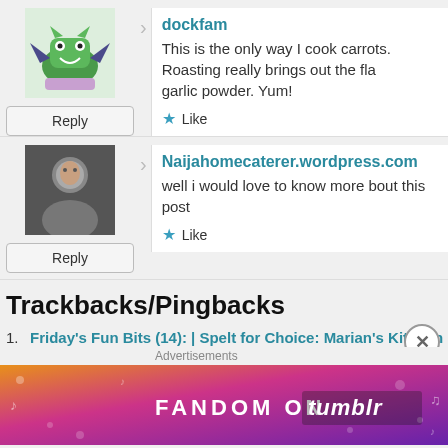dockfam
This is the only way I cook carrots. Roasting really brings out the fla... garlic powder. Yum!
Like
Naijahomecaterer.wordpress.com
well i would love to know more bout this post
Like
Trackbacks/Pingbacks
1. Friday's Fun Bits (14): | Spelt for Choice: Marian's Kitchen B...
[...] Crispy Roasted Carrots via the Ranting Chef [...]
Like
Advertisements
[Figure (infographic): Fandom on Tumblr advertisement banner with orange-to-purple gradient and decorative icons]